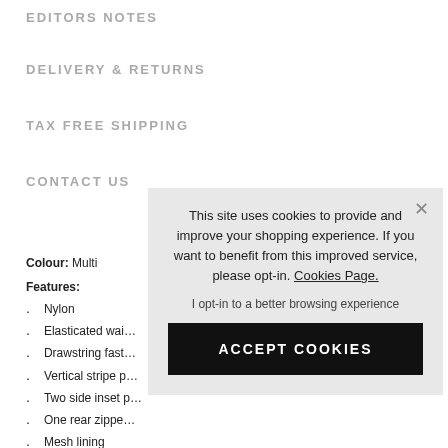EDITORS NOTES
DELIVERY & RETURNS
TAX FREE SHIPPING
CONTACT US
Colour: Multi
Features:
Nylon
Elasticated wai…
Drawstring fast…
Vertical stripe p…
Two side inset p…
One rear zippe…
Mesh lining
[Figure (screenshot): Cookie consent popup overlay with text: 'This site uses cookies to provide and improve your shopping experience. If you want to benefit from this improved service, please opt-in. Cookies Page.' and links 'I opt-in to a better browsing experience' and button 'ACCEPT COOKIES']